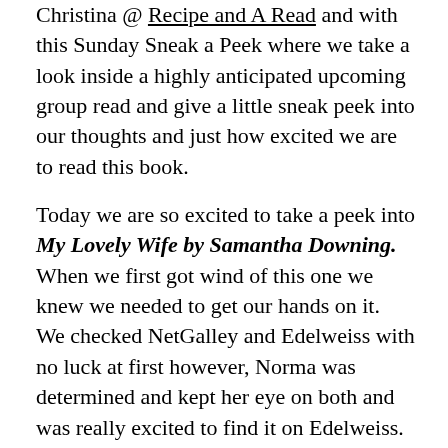Christina @ Recipe and A Read and with this Sunday Sneak a Peek where we take a look inside a highly anticipated upcoming group read and give a little sneak peek into our thoughts and just how excited we are to read this book.
Today we are so excited to take a peek into My Lovely Wife by Samantha Downing. When we first got wind of this one we knew we needed to get our hands on it. We checked NetGalley and Edelweiss with no luck at first however, Norma was determined and kept her eye on both and was really excited to find it on Edelweiss. There was some dancing in the coulee when we found it and we are so excited to add this title to our list of upcoming Traveling Sisters reads